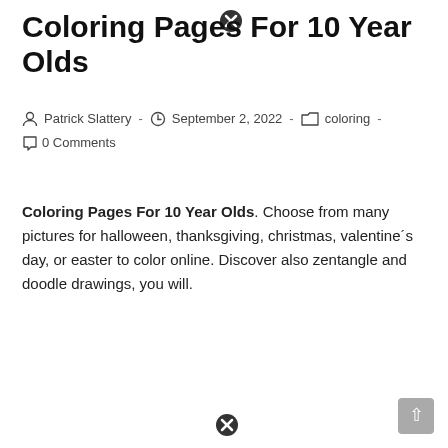Coloring Pages For 10 Year Olds
Patrick Slattery · September 2, 2022 · coloring · 0 Comments
Coloring Pages For 10 Year Olds. Choose from many pictures for halloween, thanksgiving, christmas, valentine´s day, or easter to color online. Discover also zentangle and doodle drawings, you will.